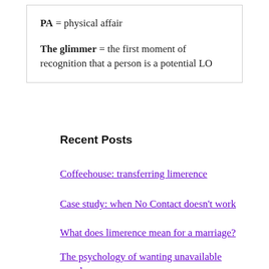PA = physical affair

The glimmer = the first moment of recognition that a person is a potential LO
Recent Posts
Coffeehouse: transferring limerence
Case study: when No Contact doesn't work
What does limerence mean for a marriage?
The psychology of wanting unavailable people
Coffeehouse: should you write a letter to